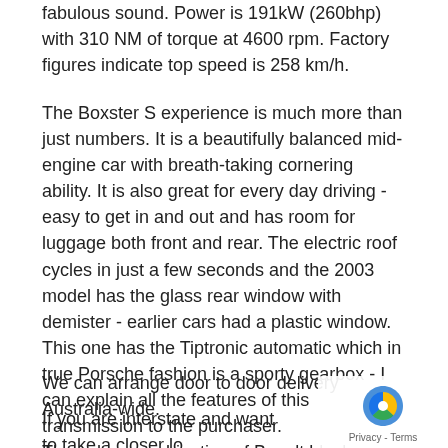fabulous sound. Power is 191kW (260bhp) with 310 NM of torque at 4600 rpm. Factory figures indicate top speed is 258 km/h.
The Boxster S experience is much more than just numbers. It is a beautifully balanced mid-engine car with breath-taking cornering ability. It is also great for every day driving - easy to get in and out and has room for luggage both front and rear. The electric roof cycles in just a few seconds and the 2003 model has the glass rear window with demister - earlier cars had a plastic window. This one has the Tiptronic automatic which in true Porsche fashion is a sporty gearbox - I can explain all the features of this transmission to the purchaser.
The colour combination of Basalt black metallic with black interior is a popular one - and good for resale down the track.
We can arrange door to door delivery Australia-wide.
If you are interstate and want to take a closer lo... are just 5 minutes from Adelaide Airport - we ha... hoist and mechanic on hand weekdays to assist you to